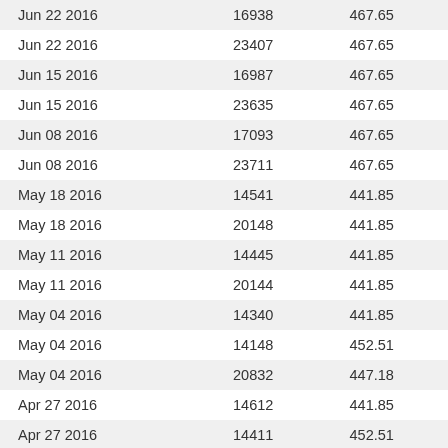| Jun 22 2016 | 16938 | 467.65 |
| Jun 22 2016 | 23407 | 467.65 |
| Jun 15 2016 | 16987 | 467.65 |
| Jun 15 2016 | 23635 | 467.65 |
| Jun 08 2016 | 17093 | 467.65 |
| Jun 08 2016 | 23711 | 467.65 |
| May 18 2016 | 14541 | 441.85 |
| May 18 2016 | 20148 | 441.85 |
| May 11 2016 | 14445 | 441.85 |
| May 11 2016 | 20144 | 441.85 |
| May 04 2016 | 14340 | 441.85 |
| May 04 2016 | 14148 | 452.51 |
| May 04 2016 | 20832 | 447.18 |
| Apr 27 2016 | 14612 | 441.85 |
| Apr 27 2016 | 14411 | 452.51 |
| Apr 27 2016 | 21166 | 447.18 |
| Apr 20 2016 | 14342 | 452.51 |